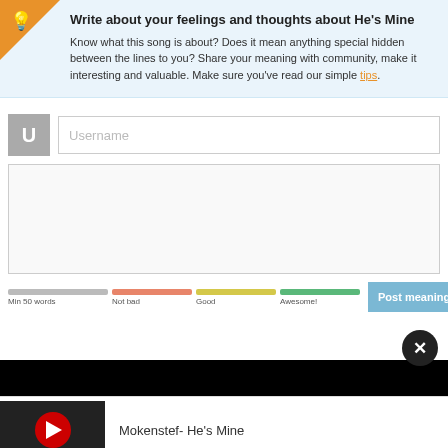Write about your feelings and thoughts about He's Mine
Know what this song is about? Does it mean anything special hidden between the lines to you? Share your meaning with community, make it interesting and valuable. Make sure you've read our simple tips.
[Figure (screenshot): Web form with username input field and text area for writing a song meaning, with progress bars (Min 50 words, Not bad, Good, Awesome!) and a Post meaning button]
[Figure (screenshot): Video player thumbnail with YouTube-style play button and title: Mokenstef- He's Mine]
Mokenstef- He's Mine